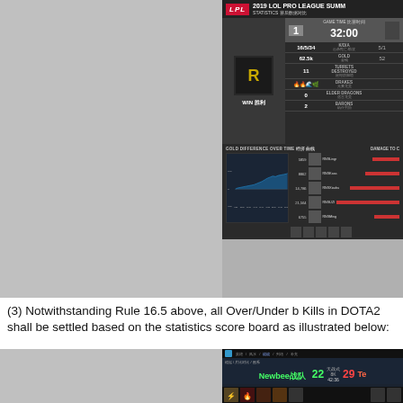[Figure (screenshot): 2019 LPL Pro League Summer statistics scoreboard screenshot showing Game 1, 32:00 time, team stats including K/D/A 16/5/34, Gold 62.5k, 11 Turrets, Drakes, Elder Dragons 0, Barons 2, WIN result for left team. Includes gold difference over time area chart and damage to champions bar chart on right side.]
(3) Notwithstanding Rule 16.5 above, all Over/Under b Kills in DOTA2 shall be settled based on the statistics score board as illustrated below:
[Figure (screenshot): DOTA2 scoreboard screenshot showing Newbee战队 22 kills vs Te... 29 kills, match time 42:36, with hero icons visible at bottom.]